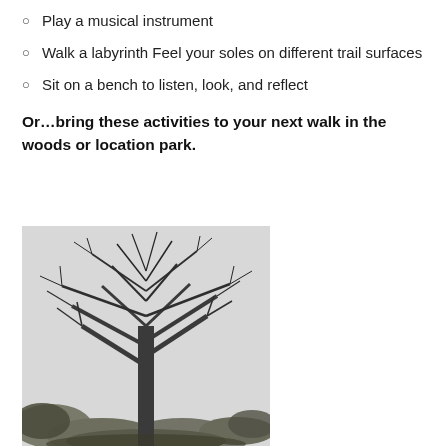Play a musical instrument
Walk a labyrinth Feel your soles on different trail surfaces
Sit on a bench to listen, look, and reflect
Or…bring these activities to your next walk in the woods or location park.
[Figure (photo): Black and white photograph of a large bare deciduous tree in winter, with many spreading branches against a light sky, surrounded by smaller trees and shrubs at the base.]